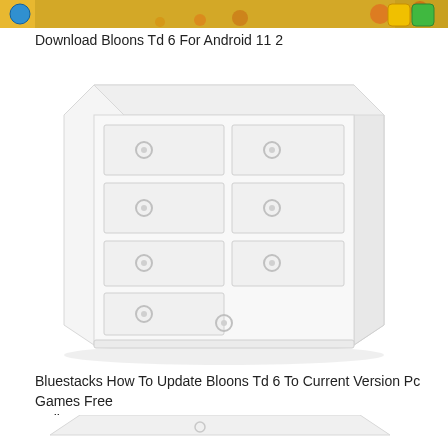[Figure (screenshot): Top strip of a colorful game screenshot showing Bloons TD 6 interface with orange/yellow themed background and UI buttons]
Download Bloons Td 6 For Android 11 2
[Figure (illustration): White chest of drawers / dresser illustration with multiple drawers and circular handles, shown in 3D perspective on white background]
Bluestacks How To Update Bloons Td 6 To Current Version Pc Games Free Online
[Figure (illustration): Partial view of another white furniture illustration at the bottom of the page]